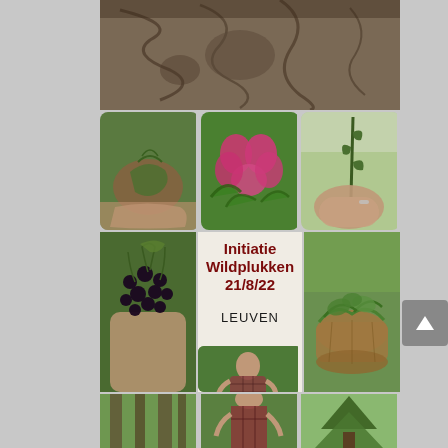[Figure (photo): Close-up of tree bark, gray-brown textured surface]
[Figure (photo): Hand holding a bowl of green herbs/leaves]
[Figure (photo): Pink wild rose flower with green leaves]
[Figure (photo): Hand holding a thin plant stem with small leaves]
[Figure (photo): Hand holding a bunch of dark elderberries]
Initiatie Wildplukken 21/8/22 LEUVEN
[Figure (photo): Basket filled with green leafy herbs/nettles]
[Figure (photo): Forest with tree trunks]
[Figure (photo): Woman in plaid shirt picking plants in a forest]
[Figure (photo): Conifer tree or evergreen plant]